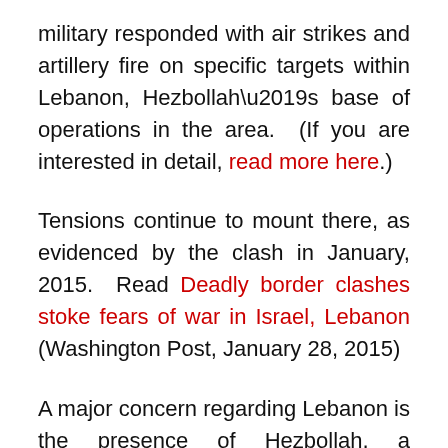military responded with air strikes and artillery fire on specific targets within Lebanon, Hezbollah’s base of operations in the area.  (If you are interested in detail, read more here.)
Tensions continue to mount there, as evidenced by the clash in January, 2015.  Read Deadly border clashes stoke fears of war in Israel, Lebanon (Washington Post, January 28, 2015)
A major concern regarding Lebanon is the presence of Hezbollah, a recognized terrorist organization that has practically taken over